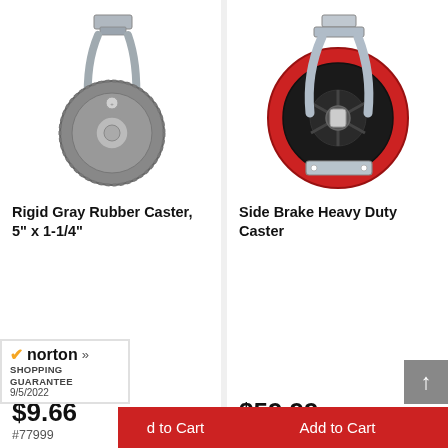[Figure (photo): Rigid gray rubber caster with metal bracket, 5 inch wheel]
Rigid Gray Rubber Caster, 5" x 1-1/4"
$9.66
#77999
[Figure (photo): Side brake heavy duty caster with red polyurethane wheel and swivel metal bracket]
Side Brake Heavy Duty Caster
$59.99
#78002
[Figure (logo): Norton Shopping Guarantee badge with checkmark, dated 9/5/2022]